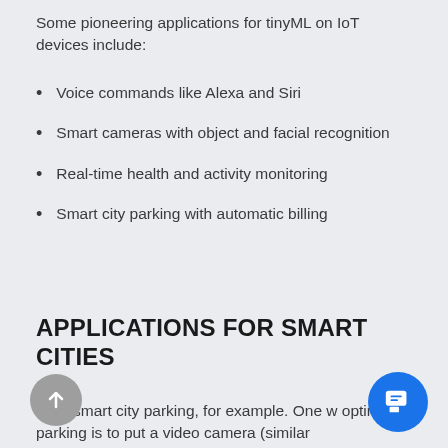Some pioneering applications for tinyML on IoT devices include:
Voice commands like Alexa and Siri
Smart cameras with object and facial recognition
Real-time health and activity monitoring
Smart city parking with automatic billing
APPLICATIONS FOR SMART CITIES
Take smart city parking, for example. One w optimize parking is to put a video camera (similar